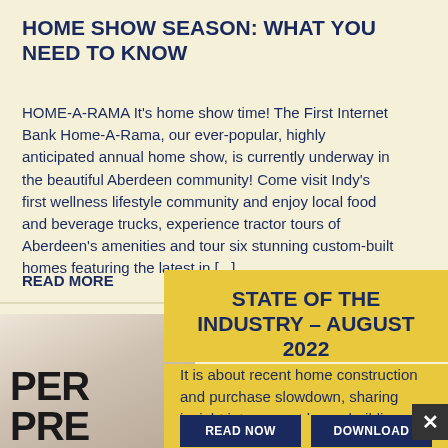HOME SHOW SEASON: WHAT YOU NEED TO KNOW
HOME-A-RAMA It's home show time! The First Internet Bank Home-A-Rama, our ever-popular, highly anticipated annual home show, is currently underway in the beautiful Aberdeen community! Come visit Indy's first wellness lifestyle community and enjoy local food and beverage trucks, experience tractor tours of Aberdeen's amenities and tour six stunning custom-built homes featuring the latest in [...]
READ MORE
[Figure (photo): Partial image showing large bold text 'PER' and 'PRE' on a light background, suggesting a partially visible article card about a personal or pre- topic]
STATE OF THE INDUSTRY – AUGUST 2022
It is about recent home construction and purchase slowdown, sharing insight into current home building issues.
READ NOW
DOWNLOAD